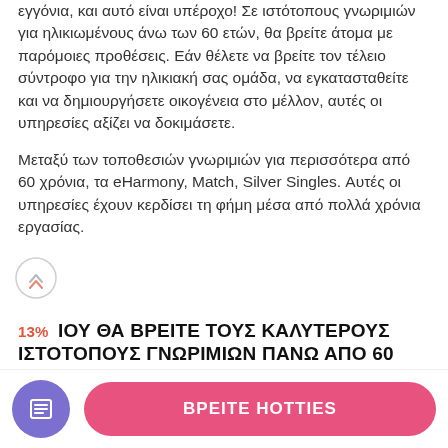εγγόνια, και αυτό είναι υπέροχο! Σε ιστότοπους γνωριμιών για ηλικιωμένους άνω των 60 ετών, θα βρείτε άτομα με παρόμοιες προθέσεις. Εάν θέλετε να βρείτε τον τέλειο σύντροφο για την ηλικιακή σας ομάδα, να εγκατασταθείτε και να δημιουργήσετε οικογένεια στο μέλλον, αυτές οι υπηρεσίες αξίζει να δοκιμάσετε.
Μεταξύ των τοποθεσιών γνωριμιών για περισσότερα από 60 χρόνια, τα eHarmony, Match, Silver Singles. Αυτές οι υπηρεσίες έχουν κερδίσει τη φήμη μέσα από πολλά χρόνια εργασίας.
13% ΙΟΥ ΘΑ ΒΡΕΙΤΕ ΤΟΥΣ ΚΑΛΥΤΕΡΟΥΣ ΙΣΤΟΤΟΠΟΥΣ ΓΝΩΡΙΜΙΩΝ ΠΑΝΩ ΑΠΟ 60
ΒΡΕΙΤΕ HOTTIES